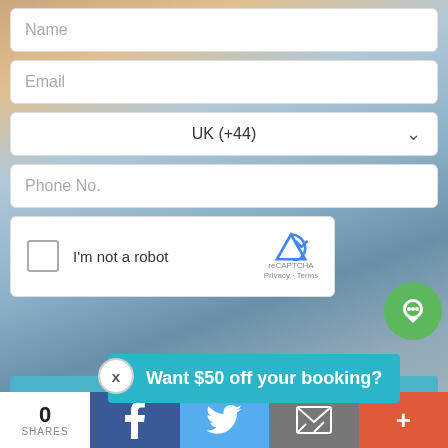Name
Email
UK (+44)
Phone No.
I'm not a robot
reCAPTCHA
Privacy · Terms
Yes  se. Send Me My Gift!
Want $50 off your booking?
Luxur... Algarve to Rent -
0 SHARES
f
twitter
email
+